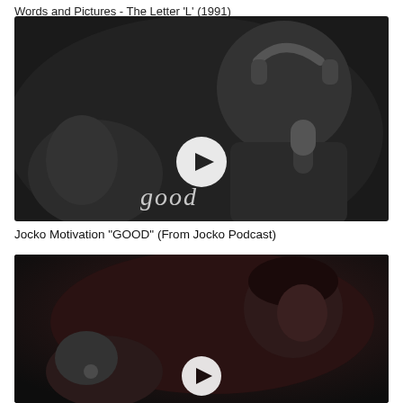Words and Pictures - The Letter 'L' (1991)
[Figure (screenshot): Black and white video thumbnail showing a man in profile wearing Sony headphones near a microphone with 'good' text overlay and a play button circle in the center]
Jocko Motivation "GOOD" (From Jocko Podcast)
[Figure (screenshot): Black and white video thumbnail showing a person with dark hair looking upward with a play button circle visible at the bottom center]